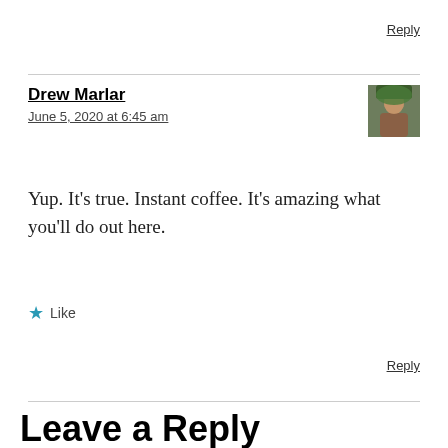Reply
Drew Marlar
June 5, 2020 at 6:45 am
[Figure (photo): Small avatar photo of Drew Marlar, showing a person outdoors with foliage in background]
Yup. It’s true. Instant coffee. It’s amazing what you’ll do out here.
★ Like
Reply
Leave a Reply